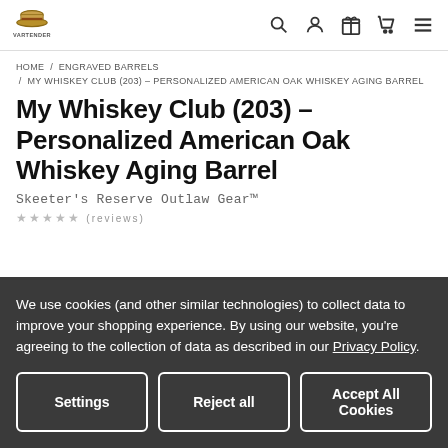VARTENDER logo and navigation icons
HOME / ENGRAVED BARRELS / MY WHISKEY CLUB (203) – PERSONALIZED AMERICAN OAK WHISKEY AGING BARREL
My Whiskey Club (203) – Personalized American Oak Whiskey Aging Barrel
Skeeter's Reserve Outlaw Gear™
We use cookies (and other similar technologies) to collect data to improve your shopping experience. By using our website, you're agreeing to the collection of data as described in our Privacy Policy.
Settings | Reject all | Accept All Cookies